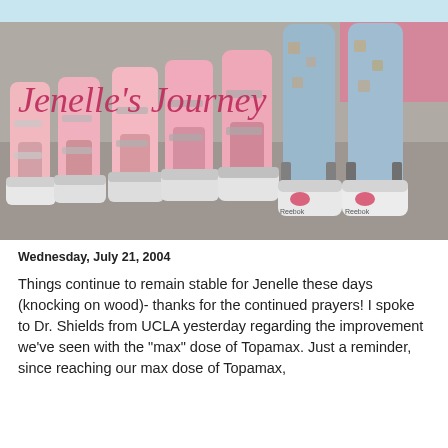[Figure (photo): Blog header image titled 'Jenelle's Journey' showing a row of pink orthotic leg braces/AFOs with shoes arranged by size from small to large, with the last pair being taller blue patterned braces with Reebok shoes]
Wednesday, July 21, 2004
Things continue to remain stable for Jenelle these days (knocking on wood)- thanks for the continued prayers! I spoke to Dr. Shields from UCLA yesterday regarding the improvement we've seen with the "max" dose of Topamax. Just a reminder, since reaching our max dose of Topamax,